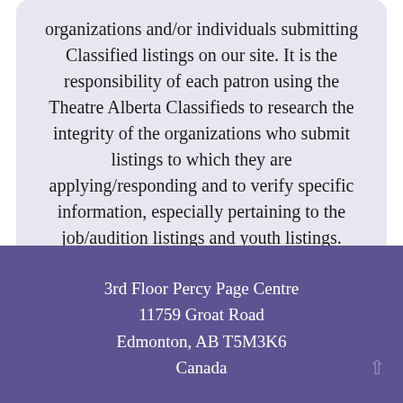organizations and/or individuals submitting Classified listings on our site. It is the responsibility of each patron using the Theatre Alberta Classifieds to research the integrity of the organizations who submit listings to which they are applying/responding and to verify specific information, especially pertaining to the job/audition listings and youth listings.
3rd Floor Percy Page Centre
11759 Groat Road
Edmonton, AB T5M3K6
Canada